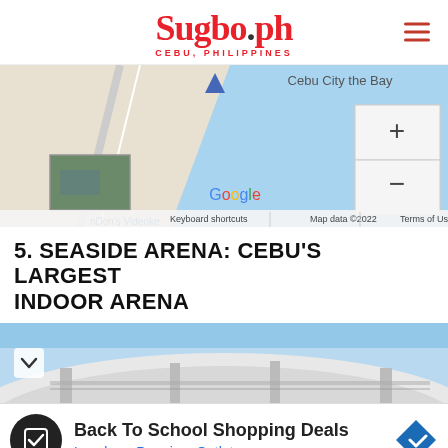Sugbo.ph — CEBU, PHILIPPINES
[Figure (map): Google Maps screenshot showing a coastal area near Cebu, Philippines with water body, road/land areas, a small inset satellite photo, map controls (+/-), nDon's Videoke label, Google branding, keyboard shortcuts, map data ©2022, Terms of Use]
5. SEASIDE ARENA: CEBU'S LARGEST INDOOR ARENA
[Figure (photo): Exterior photo of Seaside Arena, Cebu's largest indoor arena, showing white curved roof structure with blue sky in background]
Back To School Shopping Deals
Leesburg Premium Outlets